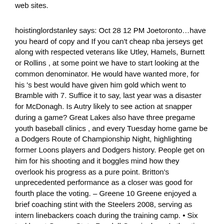web sites.
hoistinglordstanley says: Oct 28 12 PM Joetoronto…have you heard of copy and If you can't cheap nba jerseys get along with respected veterans like Utley, Hamels, Burnett or Rollins , at some point we have to start looking at the common denominator. He would have wanted more, for his 's best would have given him gold which went to Bramble with 7. Suffice it to say, last year was a disaster for McDonagh. Is Autry likely to see action at snapper during a game? Great Lakes also have three pregame youth baseball clinics , and every Tuesday home game be a Dodgers Route of Championship Night, highlighting former Loons players and Dodgers history. People get on him for his shooting and it boggles mind how they overlook his progress as a pure point. Britton's unprecedented performance as a closer was good for fourth place the voting. – Greene 10 Greene enjoyed a brief coaching stint with the Steelers 2008, serving as intern linebackers coach during the training camp. • Six tackles at Oregon State Randall Cunningham Authentic